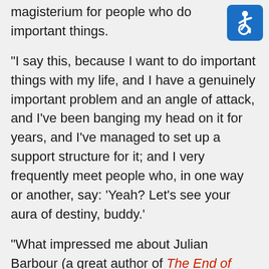magisterium for people who do important things.
[Figure (logo): Accessibility icon — white wheelchair user symbol on blue rounded square background]
“I say this, because I want to do important things with my life, and I have a genuinely important problem and an angle of attack, and I’ve been banging my head on it for years, and I’ve managed to set up a support structure for it; and I very frequently meet people who, in one way or another, say: ‘Yeah? Let’s see your aura of destiny, buddy.’
“What impressed me about Julian Barbour (a great author of The End of Time) was a quality that I don’t think anyone would have known how